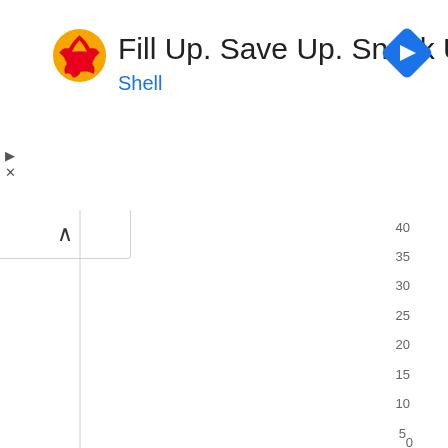[Figure (logo): Shell advertisement banner with Shell logo, text 'Fill Up. Save Up. Snack Up.' and 'Shell' in blue, plus a blue navigation arrow diamond icon in top right]
[Figure (other): Partial chart area showing y-axis with values from 0 to 40 in increments of 5, with a collapse/up-chevron button on the left. The chart plotting area appears empty (no data bars visible).]